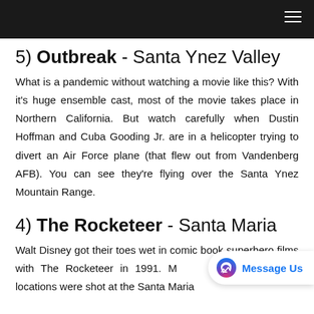5) Outbreak - Santa Ynez Valley
What is a pandemic without watching a movie like this? With it's huge ensemble cast, most of the movie takes place in Northern California. But watch carefully when Dustin Hoffman and Cuba Gooding Jr. are in a helicopter trying to divert an Air Force plane (that flew out from Vandenberg AFB). You can see they're flying over the Santa Ynez Mountain Range.
4) The Rocketeer - Santa Maria
Walt Disney got their toes wet in comic book superhero films with The Rocketeer in 1991. Many of the Los Angeles locations were shot at the Santa Maria